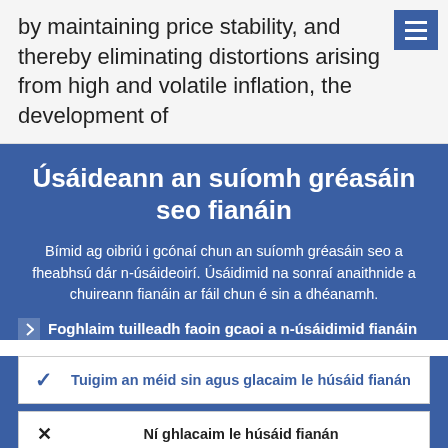by maintaining price stability, and thereby eliminating distortions arising from high and volatile inflation, the development of
Úsáideann an suíomh gréasáin seo fianáin
Bímid ag oibriú i gcónaí chun an suíomh gréasáin seo a fheabhsú dár n-úsáideoirí. Úsáidimid na sonraí anaithnide a chuireann fianáin ar fáil chun é sin a dhéanamh.
Foghlaim tuilleadh faoin gcaoi a n-úsáidimid fianáin
Tuigim an méid sin agus glacaim le húsáid fianán
Ní ghlacaim le húsáid fianán